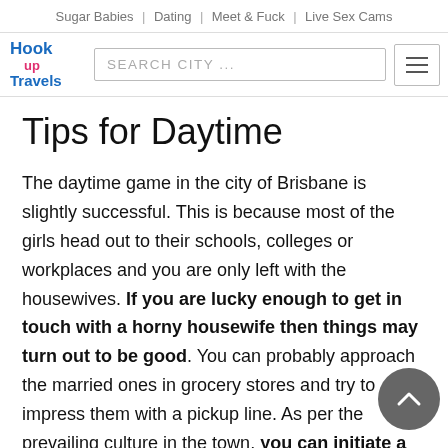Sugar Babies | Dating | Meet & Fuck | Live Sex Cams
[Figure (logo): Hook Up Travels logo with search box and hamburger menu]
Tips for Daytime
The daytime game in the city of Brisbane is slightly successful. This is because most of the girls head out to their schools, colleges or workplaces and you are only left with the housewives. If you are lucky enough to get in touch with a horny housewife then things may turn out to be good. You can probably approach the married ones in grocery stores and try to impress them with a pickup line. As per the prevailing culture in the town, you can initiate a conversation with any